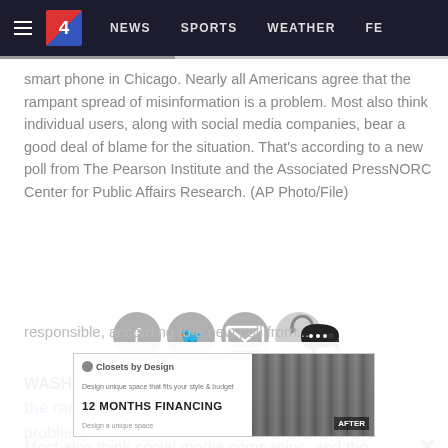NEWS  SPORTS  WEATHER  FE...
smart phone in Chicago. Nearly all Americans agree that the rampant spread of misinformation is a problem. Most also think individual users, along with social media companies, bear a good deal of blame for the situation. That's according to a new poll from The Pearson Institute and the Associated PressNORC Center for Public Affairs Research. (AP Photo/File)
[Figure (infographic): Social media sharing icons: Facebook (f), Twitter (bird), Email (envelope), Share (circle arrow), Comments (speech bubble)]
WASHINGTON – Nearly all Americans agree that the rampant spread of misinformation is a problem.
Most also think social media companies, and the people
[Figure (other): Advertisement banner for Closets by Design: '12 MONTHS FINANCING', shows before/after closet image]